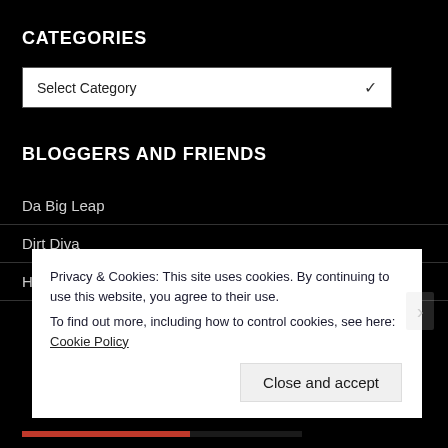CATEGORIES
Select Category
BLOGGERS AND FRIENDS
Da Big Leap
Dirt Diva
Homestead Houligan
Privacy & Cookies: This site uses cookies. By continuing to use this website, you agree to their use.
To find out more, including how to control cookies, see here: Cookie Policy
Close and accept